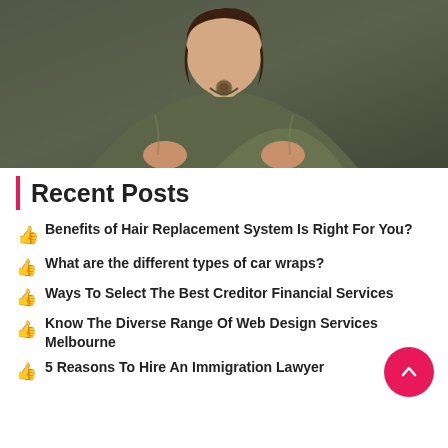[Figure (photo): Woman with arms crossed wearing dark green/olive long-sleeve blouse and a round pendant necklace, photographed against a dark grey background]
Recent Posts
Benefits of Hair Replacement System Is Right For You?
What are the different types of car wraps?
Ways To Select The Best Creditor Financial Services
Know The Diverse Range Of Web Design Services Melbourne
5 Reasons To Hire An Immigration Lawyer